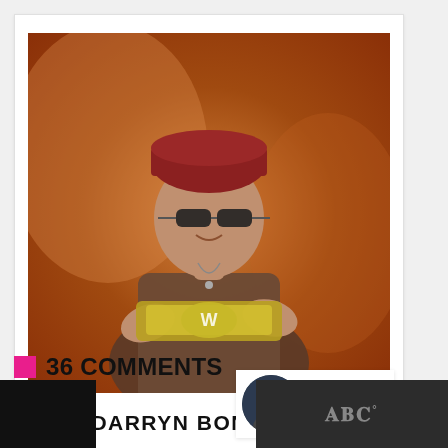[Figure (photo): Photo of Darryn Bonthuys holding a WWE championship belt, wearing sunglasses and a red beanie, warm orange background]
DARRYN BONTHUYS
Editor at Critical Hit. Inventor of the macho Swiss gym chocolate known as Testoblerone. That's...that's about it really.
0
WHAT'S NEXT → Batman Animated...
36 COMMENTS